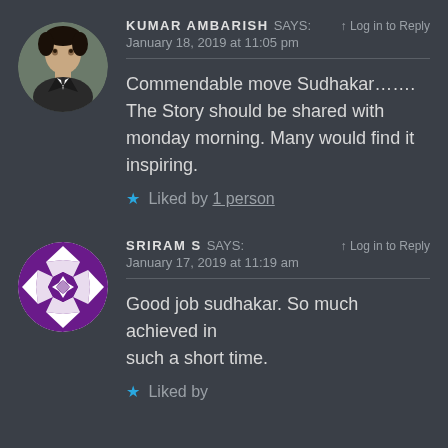[Figure (photo): Circular avatar photo of Kumar Ambarish, a man in formal attire]
KUMAR AMBARISH says: Log in to Reply
January 18, 2019 at 11:05 pm
Commendable move Sudhakar....... The Story should be shared with monday morning. Many would find it inspiring.
★ Liked by 1 person
[Figure (logo): Circular geometric avatar for Sriram S with purple and white diamond/star pattern]
SRIRAM S says: Log in to Reply
January 17, 2019 at 11:19 am
Good job sudhakar. So much achieved in such a short time.
★ Liked by